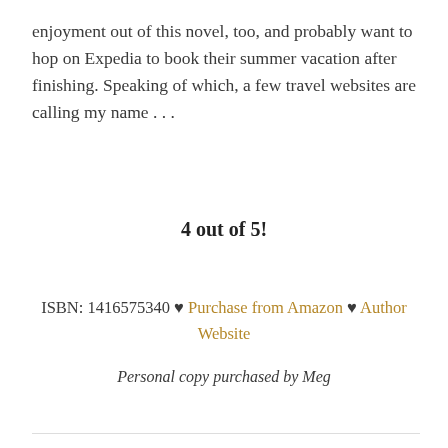enjoyment out of this novel, too, and probably want to hop on Expedia to book their summer vacation after finishing. Speaking of which, a few travel websites are calling my name . . .
4 out of 5!
ISBN: 1416575340 ♥ Purchase from Amazon ♥ Author Website
Personal copy purchased by Meg